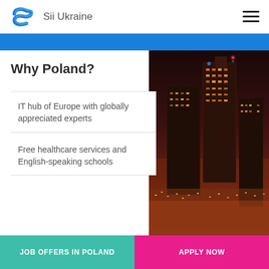Sii Ukraine
Why Poland?
IT hub of Europe with globally appreciated experts
Free healthcare services and English-speaking schools
[Figure (photo): Night cityscape of a modern European city with illuminated skyscrapers, representing Poland's role as an IT hub of Europe.]
JOB OFFERS IN POLAND
APPLY NOW